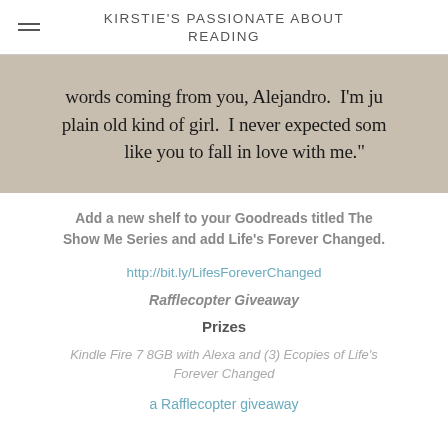KIRSTIE'S PASSIONATE ABOUT READING
[Figure (illustration): Partial quote image with text overlay on a warm beige/brown background: 'words coming from you, Alejandro. I'm ju plain old kind of girl. I never expected som like you to fall in love with me.']
Add a new shelf to your Goodreads titled The Show Me Series and add Life's Forever Changed.
http://bit.ly/LifesForeverChanged
Rafflecopter Giveaway
Prizes
Kindle Fire 7 8GB with Alexa and (3) Ecopies of Life's Forever Changed
a Rafflecopter giveaway